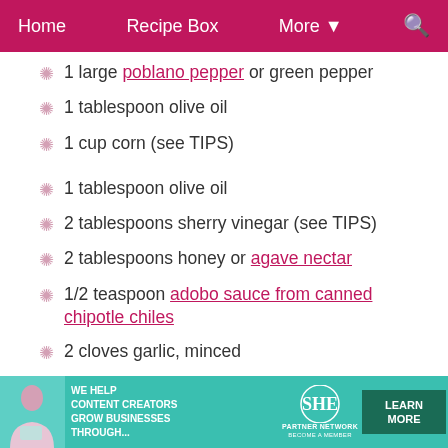Home   Recipe Box   More ▾   🔍
1 large poblano pepper or green pepper
1 tablespoon olive oil
1 cup corn (see TIPS)
1 tablespoon olive oil
2 tablespoons sherry vinegar (see TIPS)
2 tablespoons honey or agave nectar
1/2 teaspoon adobo sauce from canned chipotle chiles
2 cloves garlic, minced
2 green onions, chopped
1/4 teaspoon dried sage
[Figure (infographic): Advertisement banner for SHE Media partner network: 'We Help Content Creators Grow Businesses Through... SHE Partner Network Become a Member' with a Learn More button]